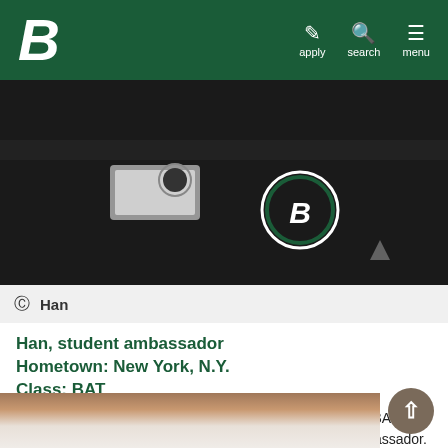B apply search menu
[Figure (photo): Close-up photo of a person wearing a dark shirt with a circular Binghamton University B logo patch]
Han
Han, student ambassador
Hometown: New York, N.Y.
Class: BAT
Han is a student in the Baccalaureate Accelerated Track (BAT) program and this is his first year as a Decker student ambassador. Previously, he earned a bachelor’s degree in chemistry from CUNY Hunter College.
[Figure (photo): Partial photo at bottom showing a brick building exterior]